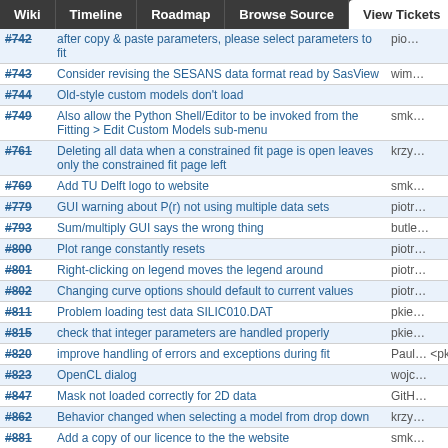Wiki | Timeline | Roadmap | Browse Source | View Tickets | Search
| # | Summary | Owner |
| --- | --- | --- |
| #742 | after copy & paste parameters,  please select parameters to fit | pio… |
| #743 | Consider revising the SESANS data format read by SasView | wim… |
| #744 | Old-style custom models don't load |  |
| #749 | Also allow the Python Shell/Editor to be invoked from the Fitting > Edit Custom Models sub-menu | smk… |
| #761 | Deleting all data when a constrained fit page is open leaves only the constrained fit page left | krzy… |
| #769 | Add TU Delft logo to website | smk… |
| #779 | GUI warning about P(r) not using multiple data sets | piotr… |
| #793 | Sum/multiply GUI says the wrong thing | butle… |
| #800 | Plot range constantly resets | piotr… |
| #801 | Right-clicking on legend moves the legend around | piotr… |
| #802 | Changing curve options should default to current values | piotr… |
| #811 | Problem loading test data SILIC010.DAT | pkie… |
| #815 | check that integer parameters are handled properly | pkie… |
| #820 | improve handling of errors and exceptions during fit | Paul… <pki… |
| #823 | OpenCL dialog | wojc… |
| #847 | Mask not loaded correctly for 2D data | GitH… |
| #862 | Behavior changed when selecting a model from drop down | krzy… |
| #881 | Add a copy of our licence to the the website | smk… |
| #892 | Need release notes for 4.1 | GitH… |
| #193 | Create loader for 1D data in seperate single column files |  |
| #419 | Move GIT revision number to build script | wojc… |